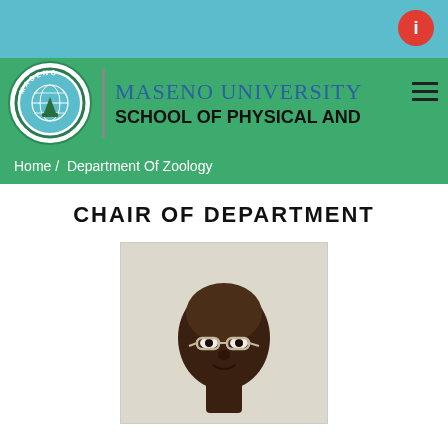Maseno University - School of Physical and Biological Sciences - Department of Zoology
Home / Department Of Zoology
CHAIR OF DEPARTMENT
[Figure (photo): Headshot photograph of a man wearing glasses, facing forward, against a light background.]